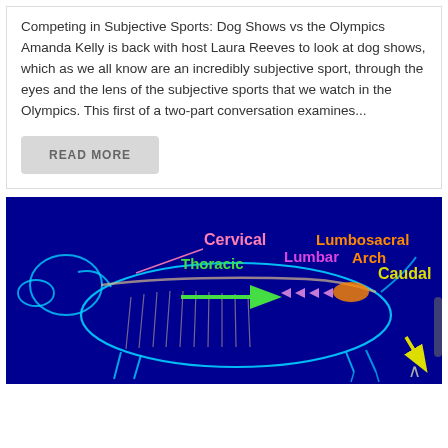Competing in Subjective Sports: Dog Shows vs the Olympics Amanda Kelly is back with host Laura Reeves to look at dog shows, which as we all know are an incredibly subjective sport, through the eyes and the lens of the subjective sports that we watch in the Olympics. This first of a two-part conversation examines...
READ MORE
[Figure (illustration): Anatomical diagram of a dog skeleton on a dark blue background, with labeled spinal regions: Cervical (pink text), Thoracic (green text with green arrow), Lumbar (magenta text with pink arrows), Lumbosacral Arch (orange text), and Caudal (yellow text with yellow arrow pointing down-right).]